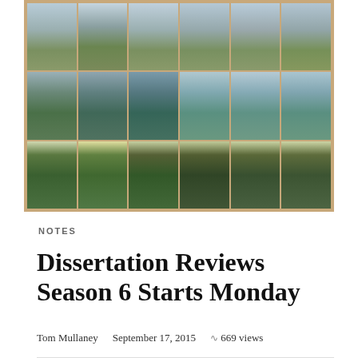[Figure (photo): A 3x6 grid of photographs showing the same tree photographed across different seasons, progressing from bare winter branches (top row, brown/gray tones) through spring leafing (middle row) to full summer foliage (bottom row, deep green). The photos are arranged in a wooden-framed collage.]
NOTES
Dissertation Reviews Season 6 Starts Monday
Tom Mullaney    September 17, 2015    ↝ 669 views